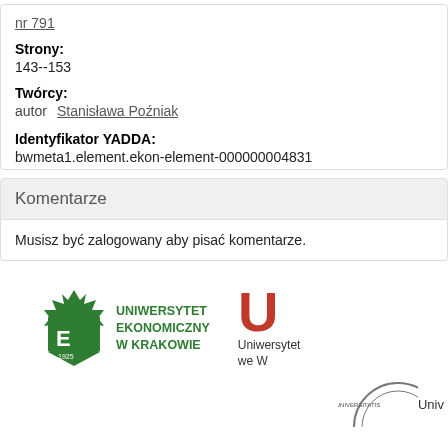nr 791
Strony:
143--153
Twórcy:
autor   Stanisława Poźniak
Identyfikator YADDA:
bwmeta1.element.ekon-element-000000004831
Komentarze
Musisz być zalogowany aby pisać komentarze.
[Figure (logo): Uniwersytet Ekonomiczny w Krakowie logo with green shield and text]
[Figure (logo): Partial logo on right side showing U letter mark and text 'Uniwersytet we W...']
[Figure (logo): Partial circular seal/stamp logo at bottom right]